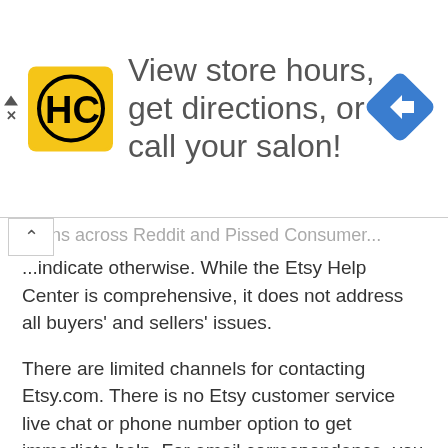[Figure (other): Advertisement banner with HC logo (yellow square with HC text), text 'View store hours, get directions, or call your salon!', and a blue diamond navigation icon on the right. Small close/dismiss arrows on the left.]
...ions across Reddit and Pissed Consumer...indicate otherwise. While the Etsy Help Center is comprehensive, it does not address all buyers' and sellers' issues.
There are limited channels for contacting Etsy.com. There is no Etsy customer service live chat or phone number option to get immediate help. For email correspondence, you need to fill out an Etsy contact form if it is available for your issue. On Twitter, Etsy support is slow to respond and does not address customer issues.
What has been your experience with Etsy customer service? Leave a review on PissedConsumer.com.